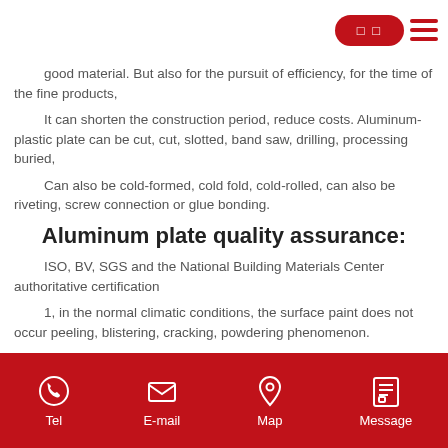🔴 □□ ≡
good material. But also for the pursuit of efficiency, for the time of the fine products,
It can shorten the construction period, reduce costs. Aluminum-plastic plate can be cut, cut, slotted, band saw, drilling, processing buried,
Can also be cold-formed, cold fold, cold-rolled, can also be riveting, screw connection or glue bonding.
Aluminum plate quality assurance:
ISO, BV, SGS and the National Building Materials Center authoritative certification
1, in the normal climatic conditions, the surface paint does not occur peeling, blistering, cracking, powdering phenomenon.
2, under normal environmental conditions, does not occur plate peeling, bubbling phenomenon.
Tel   E-mail   Map   Message